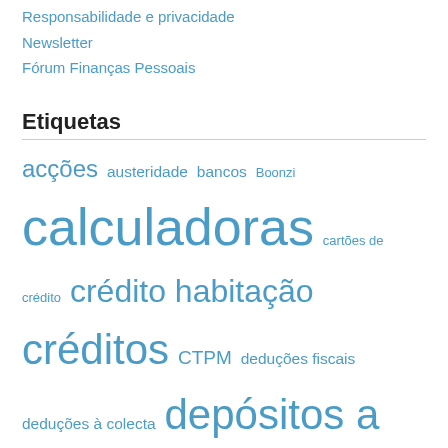Responsabilidade e privacidade
Newsletter
Fórum Finanças Pessoais
Etiquetas
acções austeridade bancos Boonzi calculadoras cartões de crédito crédito habitação créditos CTPM deduções fiscais deduções à colecta depósitos a prazo diversificação duodécimos educação Euribor ferramentas finanças pessoais funcionários públicos impostos informática instituições financeiras investimentos IRS IRS 2013 IRS 2015 literacia financeira obrigações ordenados parcerias pensões poupança poupar a sério reclamações riscos segurança Segurança Social seguros simuladores subsídios